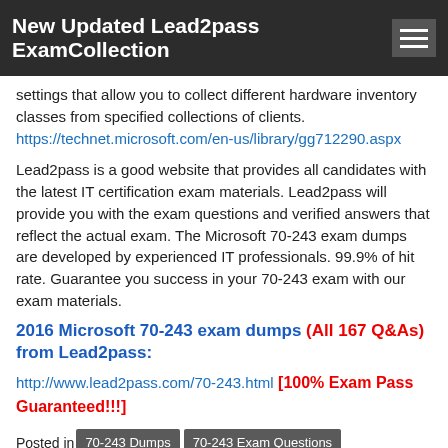New Updated Lead2pass ExamCollection
settings that allow you to collect different hardware inventory classes from specified collections of clients.
https://technet.microsoft.com/en-us/library/gg712290.aspx
Lead2pass is a good website that provides all candidates with the latest IT certification exam materials. Lead2pass will provide you with the exam questions and verified answers that reflect the actual exam. The Microsoft 70-243 exam dumps are developed by experienced IT professionals. 99.9% of hit rate. Guarantee you success in your 70-243 exam with our exam materials.
2016 Microsoft 70-243 exam dumps (All 167 Q&As) from Lead2pass:
http://www.lead2pass.com/70-243.html [100% Exam Pass Guaranteed!!!]
Posted in 70-243 Dumps 70-243 Exam Questions 70-243 New Questions 70-243 PDF 70-243 VCE Microsoft | Tagged 70-243 braindumps 70-243 exam dumps 70-243 exam question 70-243 pdf dumps 70-243 practice test 70-243 study guide